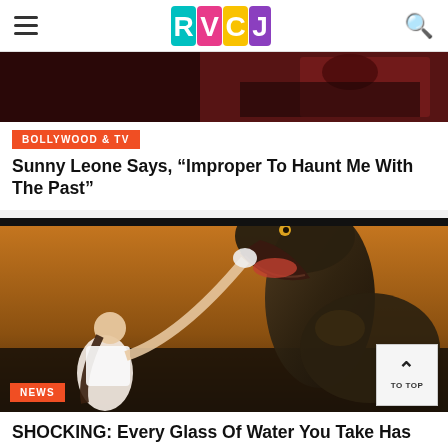RVCJ (logo)
[Figure (photo): Partial photo of woman in dark clothing with dark background - Sunny Leone article image]
BOLLYWOOD & TV
Sunny Leone Says, “Improper To Haunt Me With The Past”
[Figure (photo): Woman in white top feeding or pushing hand toward large T-Rex dinosaur with open mouth, dramatic sky background]
NEWS
SHOCKING: Every Glass Of Water You Take Has